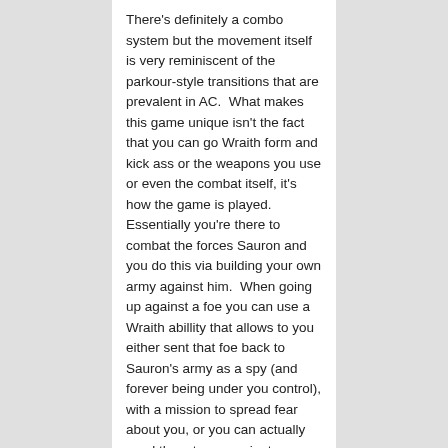There's definitely a combo system but the movement itself is very reminiscent of the parkour-style transitions that are prevalent in AC.  What makes this game unique isn't the fact that you can go Wraith form and kick ass or the weapons you use or even the combat itself, it's how the game is played.  Essentially you're there to combat the forces Sauron and you do this via building your own army against him.  When going up against a foe you can use a Wraith abillity that allows to you either sent that foe back to Sauron's army as a spy (and forever being under you control), with a mission to spread fear about you, or you can actually send them to assassinate a target of your choice.  This is where the game blows up and almost turns into another game itself as the world you're living in is dynamic and constantly changing with your influence via capturing/killing the